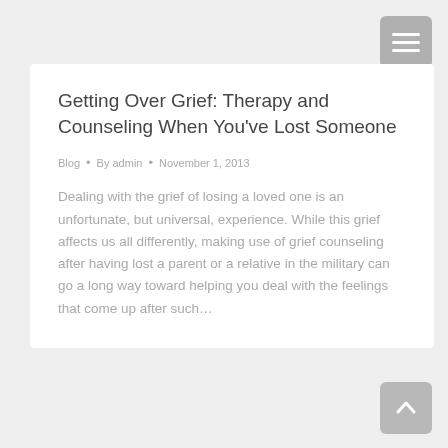Getting Over Grief: Therapy and Counseling When You've Lost Someone
Blog • By admin • November 1, 2013
Dealing with the grief of losing a loved one is an unfortunate, but universal, experience. While this grief affects us all differently, making use of grief counseling after having lost a parent or a relative in the military can go a long way toward helping you deal with the feelings that come up after such…